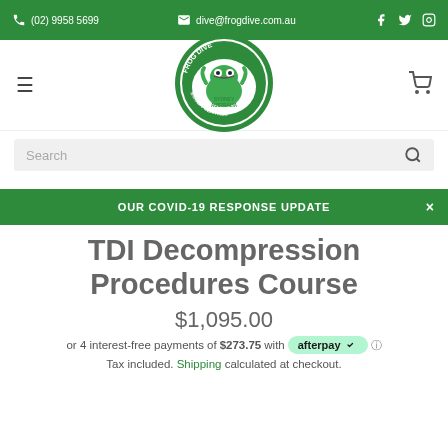(02) 9958 5699 | dive@frogdive.com.au | Facebook | Twitter | Instagram
[Figure (logo): Frog Dive Sydney Australia Scuba Centres circular logo with cartoon frog]
Search
OUR COVID-19 RESPONSE UPDATE
TDI Decompression Procedures Course
$1,095.00
or 4 interest-free payments of $273.75 with afterpay
Tax included. Shipping calculated at checkout.